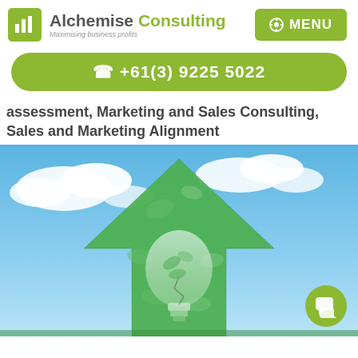Alchemise Consulting — Maximising business profits | MENU
+61(3) 9225 5022
assessment, Marketing and Sales Consulting, Sales and Marketing Alignment
[Figure (photo): An upward green arrow shape made of leaves with a light bulb inside, set against a blue sky with clouds — symbolising green growth and innovation]